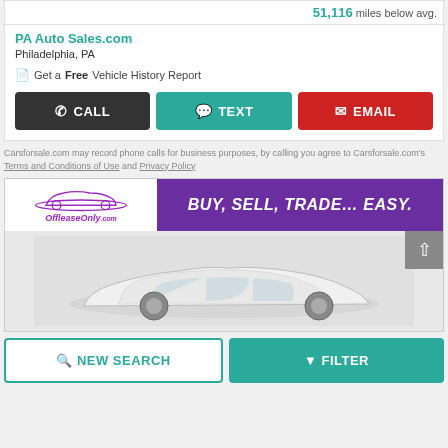51,116 miles below avg.
PA Auto Sales.com
Philadelphia, PA
Get a Free Vehicle History Report
CALL
TEXT
EMAIL
Carsforsale.com may record phone calls for business purposes, by calling you agree to Carsforsale.com's Terms and Conditions of Use and Privacy Policy
[Figure (illustration): OffleaseOnly.com advertisement banner: BUY, SELL, TRADE... EASY. with car silhouette logo on left and purple banner on right]
[Figure (photo): White sedan car photographed from the side against a light gray background]
NEW SEARCH
FILTER